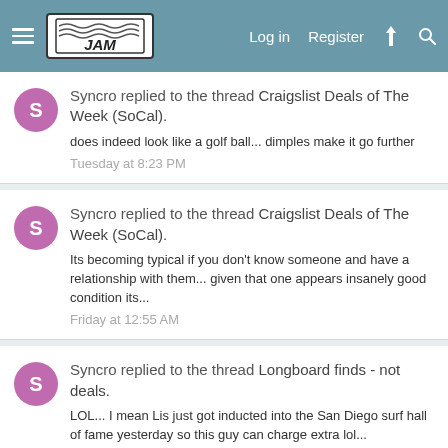JAM — Log in  Register
Syncro replied to the thread Craigslist Deals of The Week (SoCal). does indeed look like a golf ball... dimples make it go further — Tuesday at 8:23 PM
Syncro replied to the thread Craigslist Deals of The Week (SoCal). Its becoming typical if you don't know someone and have a relationship with them... given that one appears insanely good condition its... — Friday at 12:55 AM
Syncro replied to the thread Longboard finds - not deals. LOL... I mean Lis just got inducted into the San Diego surf hall of fame yesterday so this guy can charge extra lol...